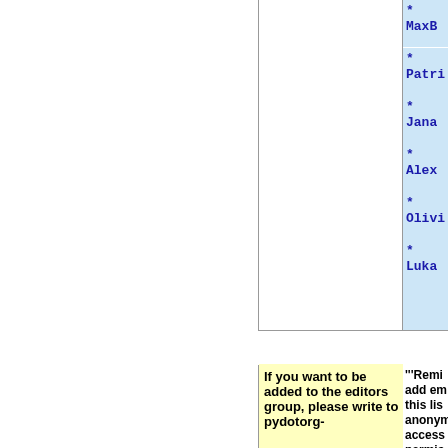* MaxB
* Patri
* Jana
* Alex
* Olivi
* Luka
Line 223:
Line 71
If you want to be added to the editors group, please write to pydotorg-
""'Remi add em this lis anonym access permis in this ---- If you w to the e please www.@